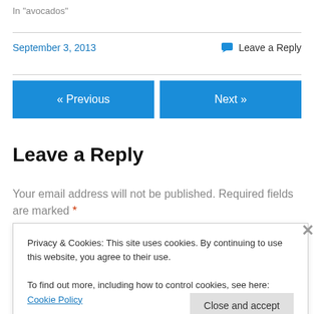In "avocados"
September 3, 2013   Leave a Reply
« Previous
Next »
Leave a Reply
Your email address will not be published. Required fields are marked *
Privacy & Cookies: This site uses cookies. By continuing to use this website, you agree to their use.
To find out more, including how to control cookies, see here: Cookie Policy
Close and accept